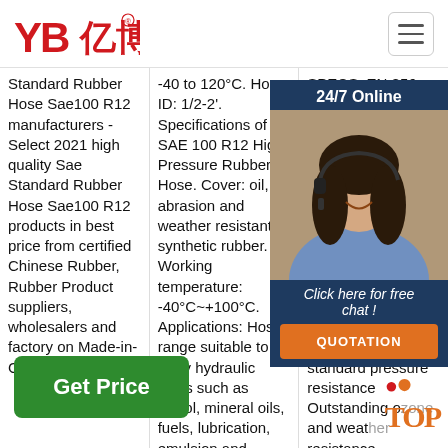[Figure (logo): YB亿博 logo in red with registered trademark symbol]
Standard Rubber Hose Sae100 R12 manufacturers - Select 2021 high quality Sae Standard Rubber Hose Sae100 R12 products in best price from certified Chinese Rubber, Rubber Product suppliers, wholesalers and factory on Made-in-China.com
-40 to 120°C. Hose ID: 1/2-2'. Specifications of SAE 100 R12 High Pressure Rubber Hose. Cover: oil, abrasion and weather resistant synthetic rubber. Working temperature: -40°C~+100°C. Applications: Hose range suitable to carry hydraulic fluids such as glycol, mineral oils, fuels, lubrication, emulsion and hydrocarbons etc.
SPECS: EN 856 R12, SAE 100 R12 - IS... 2.K... PER... OF... HYD... RUB... EN/... SAE... pressure... Applications: 1.0... cyclic... standard pressure resistance Outstanding ozone and weather resistance biological and mineral oils
[Figure (photo): Woman with headset smiling - 24/7 online customer support representative]
Click here for free chat!
QUOTATION
Get Price